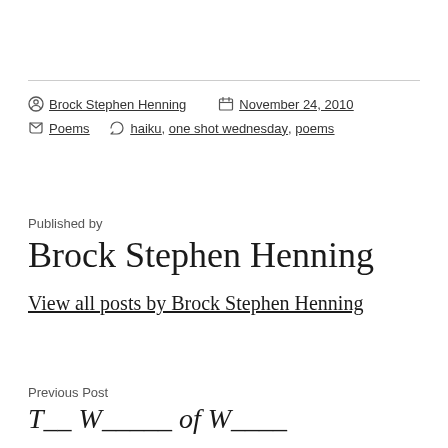Brock Stephen Henning   November 24, 2010
Poems   haiku, one shot wednesday, poems
Published by
Brock Stephen Henning
View all posts by Brock Stephen Henning
Previous Post